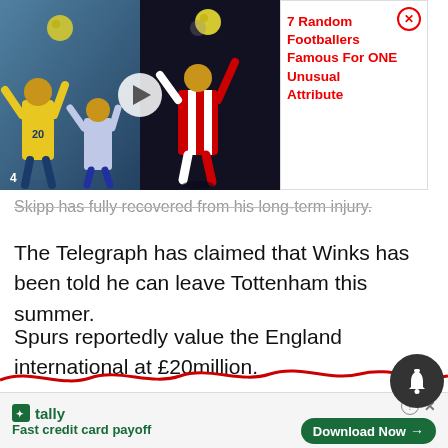[Figure (screenshot): Video thumbnail ad showing footballers, with play button overlay. Two panels: left shows player in yellow kit and player in blue kit heading a ball; right shows player in red/white striped kit. Top label reads 'Footballers Famous For One Unusual Attribute'.]
7 Random Footballers Famous For ONE Unusual Attribute
Skipp has fully recovered from his long-term injury.
The Telegraph has claimed that Winks has been told he can leave Tottenham this summer.
Spurs reportedly value the England international at £20million.
Meanwhile, Everton boss Lampard apparently wants at least four new signings at Goodison Park.
[Figure (screenshot): Bottom banner advertisement for Tally app with text 'Fast credit card payoff' and 'Download Now' button, plus help and close icons.]